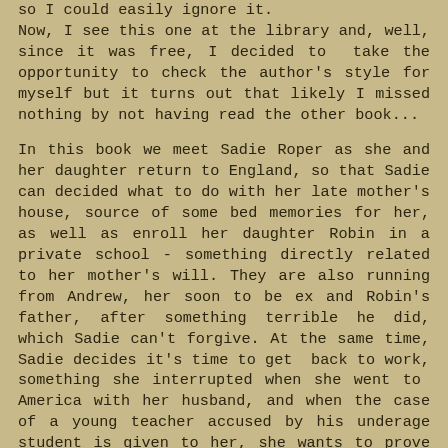so I could easily ignore it.
Now, I see this one at the library and, well, since it was free, I decided to take the opportunity to check the author's style for myself but it turns out that likely I missed nothing by not having read the other book...
In this book we meet Sadie Roper as she and her daughter return to England, so that Sadie can decided what to do with her late mother's house, source of some bed memories for her, as well as enroll her daughter Robin in a private school - something directly related to her mother's will. They are also running from Andrew, her soon to be ex and Robin's father, after something terrible he did, which Sadie can't forgive. At the same time, Sadie decides it's time to get back to work, something she interrupted when she went to America with her husband, and when the case of a young teacher accused by his underage student is given to her, she wants to prove her worth, but will this be as easy as it looks like? What about the pressure of the mother's group at Robin's school?
I think the author knows what she wants to write about (it is said on her bio that she took creative writing classes) and her